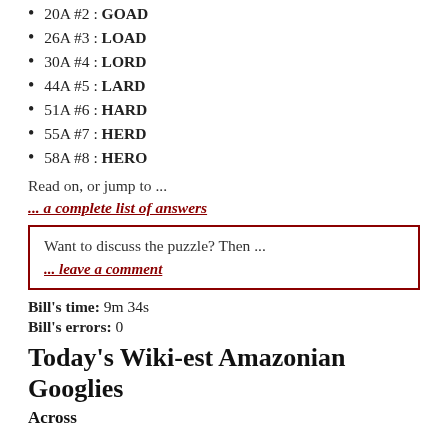20A #2 : GOAD
26A #3 : LOAD
30A #4 : LORD
44A #5 : LARD
51A #6 : HARD
55A #7 : HERD
58A #8 : HERO
Read on, or jump to ...
... a complete list of answers
Want to discuss the puzzle? Then ...
... leave a comment
Bill’s time: 9m 34s
Bill’s errors: 0
Today’s Wiki-est Amazonian Googlies
Across